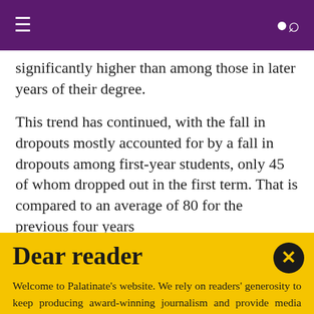Navigation bar with menu and search icons
significantly higher than among those in later years of their degree.
This trend has continued, with the fall in dropouts mostly accounted for by a fall in dropouts among first-year students, only 45 of whom dropped out in the first term. That is compared to an average of 80 for the previous four years
Dear reader
Welcome to Palatinate's website. We rely on readers' generosity to keep producing award-winning journalism and provide media training opportunities to our team of more than 150 students. Palatinate has produced some of the biggest names in British media, from Jeremy Vine to the late great Sir Harold Evans. Every contribution to Palatinate is an investment into the future of journalism.
Donate